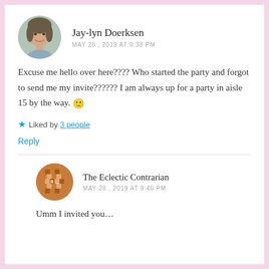[Figure (photo): Circular avatar photo of Jay-lyn Doerksen, a woman smiling]
Jay-lyn Doerksen
MAY 28, 2019 AT 9:38 PM
Excuse me hello over here???? Who started the party and forgot to send me my invite?????? I am always up for a party in aisle 15 by the way. 🙂
★ Liked by 3 people
Reply
[Figure (illustration): Circular brown pixel/mosaic style avatar for The Eclectic Contrarian]
The Eclectic Contrarian
MAY 28, 2019 AT 9:40 PM
Umm I invited you…